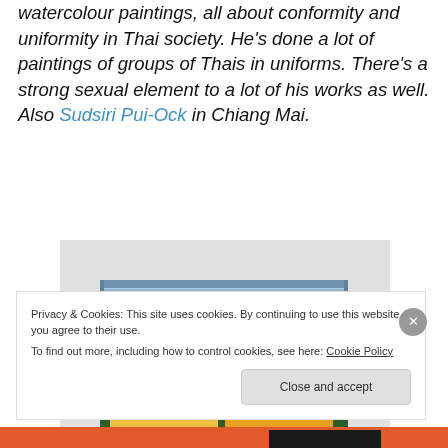watercolour paintings, all about conformity and uniformity in Thai society. He's done a lot of paintings of groups of Thais in uniforms. There's a strong sexual element to a lot of his works as well. Also Sudsiri Pui-Ock in Chiang Mai.
[Figure (photo): Photo of artwork displayed behind venetian/horizontal blinds partially raised, showing colorful paintings with orange and green hues on a dark green surface]
Privacy & Cookies: This site uses cookies. By continuing to use this website, you agree to their use. To find out more, including how to control cookies, see here: Cookie Policy